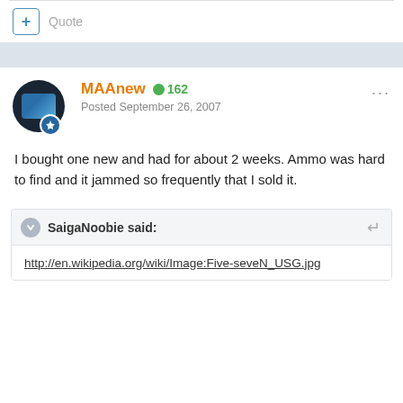Quote
MAAnew  ● 162
Posted September 26, 2007
I bought one new and had for about 2 weeks. Ammo was hard to find and it jammed so frequently that I sold it.
SaigaNoobie said:
http://en.wikipedia.org/wiki/Image:Five-seveN_USG.jpg